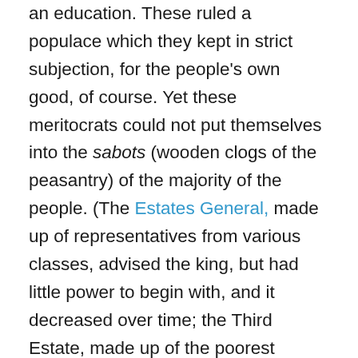an education. These ruled a populace which they kept in strict subjection, for the people's own good, of course. Yet these meritocrats could not put themselves into the sabots (wooden clogs of the peasantry) of the majority of the people. (The Estates General, made up of representatives from various classes, advised the king, but had little power to begin with, and it decreased over time; the Third Estate, made up of the poorest members of French society, had the least power, and the burden of taxation fell almost entirely on them.) As they saw it, the classes of society were properly kept in their place to fulfill their respective roles, and to undermine this structure would be to undermine the delicate balance of a functioning society. They were proven wrong: the intolerable condition of their lives caused the laboring classes to revolt and overthrow their rulers. While the monarch, the aristocracy, and the clergy considered